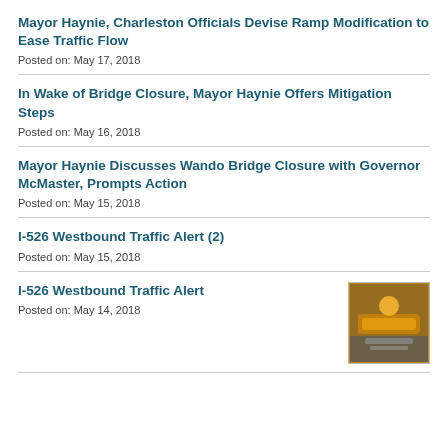Mayor Haynie, Charleston Officials Devise Ramp Modification to Ease Traffic Flow
Posted on: May 17, 2018
In Wake of Bridge Closure, Mayor Haynie Offers Mitigation Steps
Posted on: May 16, 2018
Mayor Haynie Discusses Wando Bridge Closure with Governor McMaster, Prompts Action
Posted on: May 15, 2018
I-526 Westbound Traffic Alert (2)
Posted on: May 15, 2018
I-526 Westbound Traffic Alert
Posted on: May 14, 2018
[Figure (photo): Thumbnail photo of orange construction-related item]
(partially visible next item)